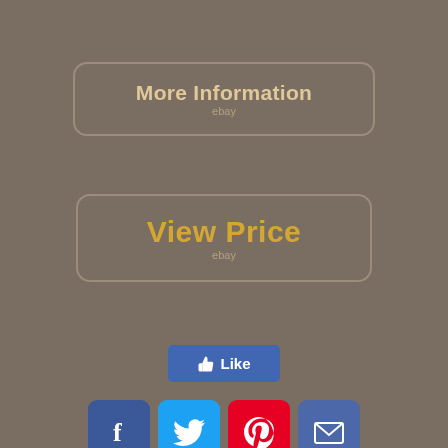[Figure (screenshot): More Information eBay button on brownish-gray background]
[Figure (screenshot): View Price eBay button on brownish-gray background]
[Figure (screenshot): Facebook Like button]
[Figure (screenshot): Social sharing icons: Facebook, Twitter, Pinterest, Email]
[Figure (photo): Product image strip showing milking machine equipment]
[Figure (screenshot): Search bar with Search button]
milking pneumatic goats machine farm farming double piston technology plug goat 110v dairy head steel milker